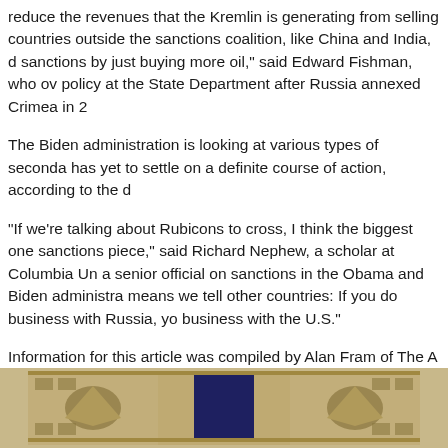reduce the revenues that the Kremlin is generating from selling countries outside the sanctions coalition, like China and India, d sanctions by just buying more oil," said Edward Fishman, who ov policy at the State Department after Russia annexed Crimea in 2
The Biden administration is looking at various types of seconda has yet to settle on a definite course of action, according to the d
"If we're talking about Rubicons to cross, I think the biggest one sanctions piece," said Richard Nephew, a scholar at Columbia Un a senior official on sanctions in the Obama and Biden administra means we tell other countries: If you do business with Russia, yo business with the U.S."
Information for this article was compiled by Alan Fram of The A by Alan Rappeport, Edward Wong and Michael Crowley of The N and by Ryan Tarinelli of the Arkansas Democrat-Gazette.
[Figure (photo): Partial photo of what appears to be an official building facade or decorative architectural frieze with ornamental details, partially cropped at bottom of page.]